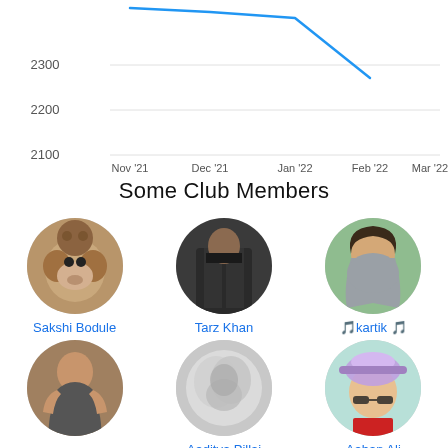[Figure (line-chart): Line chart showing declining club member count from ~2430 in Nov 2021 to ~2320 in Feb 2022]
Some Club Members
[Figure (photo): Profile photo of Sakshi Bodule - two monkeys]
Sakshi Bodule
[Figure (photo): Profile photo of Tarz Khan - person from behind in dark jacket]
Tarz Khan
[Figure (photo): Profile photo of kartik - man with long hair and sunglasses in grey jacket]
🎵kartik 🎵
[Figure (photo): Profile photo of second row member 1 - muscular man in tank top]
[Figure (photo): Profile photo of Aaditya Pillai - person in smoke cloud]
[Figure (photo): Profile photo of Aaban Ali - young child in colorful hat and glasses]